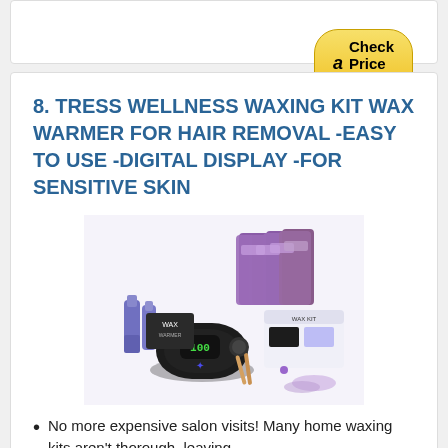[Figure (screenshot): Amazon Check Price Now button (yellow pill-shaped button with Amazon logo 'a' and text 'Check Price Now')]
8. TRESS WELLNESS WAXING KIT WAX WARMER FOR HAIR REMOVAL -EASY TO USE -DIGITAL DISPLAY -FOR SENSITIVE SKIN
[Figure (photo): Product photo of Tress Wellness waxing kit showing a black wax warmer device with digital display showing 100, multiple purple wax bead bags with various scents, spray bottles, and a white box kit set against white background with lavender buds]
No more expensive salon visits! Many home waxing kits aren't thorough, leaving